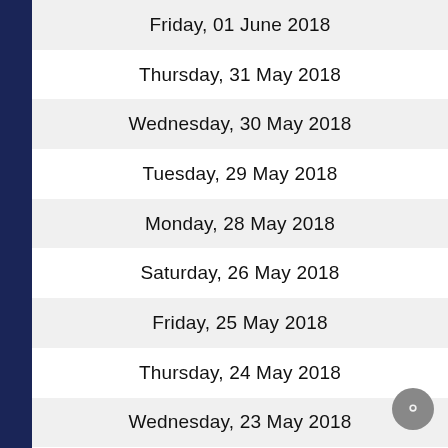Friday, 01 June 2018
Thursday, 31 May 2018
Wednesday, 30 May 2018
Tuesday, 29 May 2018
Monday, 28 May 2018
Saturday, 26 May 2018
Friday, 25 May 2018
Thursday, 24 May 2018
Wednesday, 23 May 2018
Tuesday, 22 May 2018